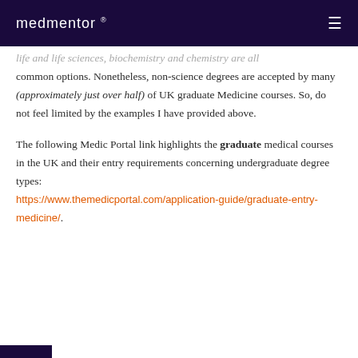medmentor ®
life and life sciences, biochemistry and chemistry are all common options. Nonetheless, non-science degrees are accepted by many (approximately just over half) of UK graduate Medicine courses. So, do not feel limited by the examples I have provided above.
The following Medic Portal link highlights the graduate medical courses in the UK and their entry requirements concerning undergraduate degree types: https://www.themedicportal.com/application-guide/graduate-entry-medicine/.